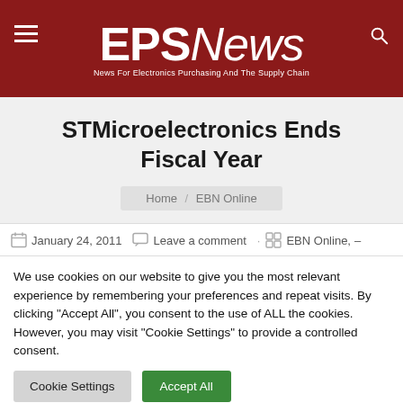EPS News — News For Electronics Purchasing And The Supply Chain
STMicroelectronics Ends Fiscal Year
Home / EBN Online
January 24, 2011   Leave a comment · EBN Online, –
We use cookies on our website to give you the most relevant experience by remembering your preferences and repeat visits. By clicking "Accept All", you consent to the use of ALL the cookies. However, you may visit "Cookie Settings" to provide a controlled consent.
Cookie Settings   Accept All